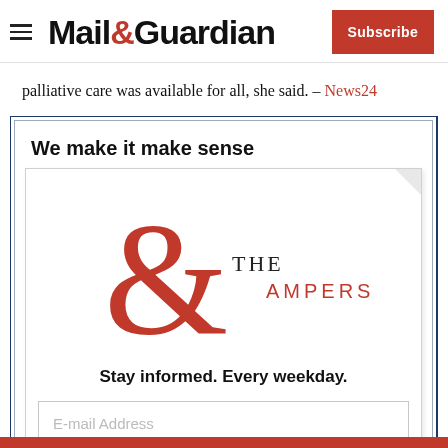Mail&Guardian | Subscribe
palliative care was available for all, she said. – News24
We make it make sense
[Figure (logo): The Ampersand newsletter logo — a large red ampersand symbol with 'THE AMPERSAND' text]
Stay informed. Every weekday.
E-mail Address